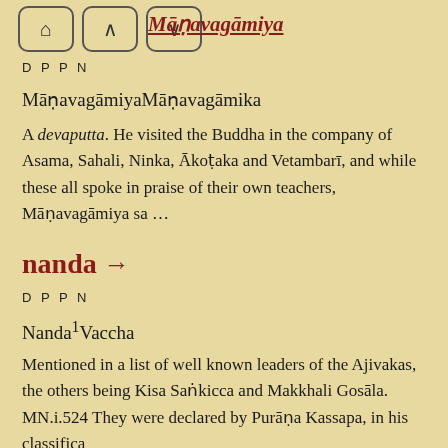[Figure (screenshot): Navigation bar with home, up arrow, and down arrow buttons]
Māṇavagāmiya
DPPN
MāṇavagāmiyaMāṇavagāmika
A devaputta. He visited the Buddha in the company of Asama, Sahali, Ninka, Ākoṭaka and Vetambarī, and while these all spoke in praise of their own teachers, Māṇavagāmiya sa …
nanda →
DPPN
Nanda¹Vaccha
Mentioned in a list of well known leaders of the Ajivakas, the others being Kisa Saṅkicca and Makkhali Gosāla. MN.i.524 They were declared by Purāṇa Kassapa, in his classifica